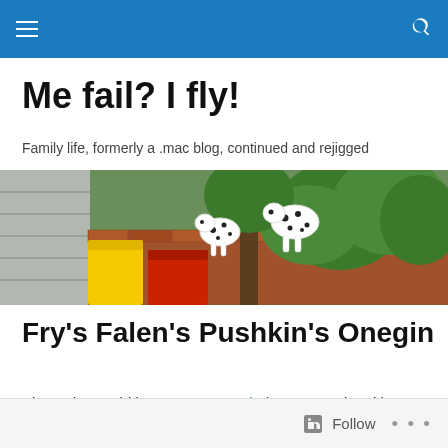Navigation bar with hamburger menu and search icon
Me fail? I fly!
Family life, formerly a .mac blog, continued and rejigged
[Figure (photo): Outdoor garden scene with dalmatian dog sculptures, red and yellow wheelie bins, brick wall, and green shrubs/hedge in background]
Fry's Falen's Pushkin's Onegin
Alexander Pushkin, Eugene Onegin (1833, translated by James E Falen 1990, narrated by Stephen Fry 2013, Digital October Publishing House)
Follow • • •